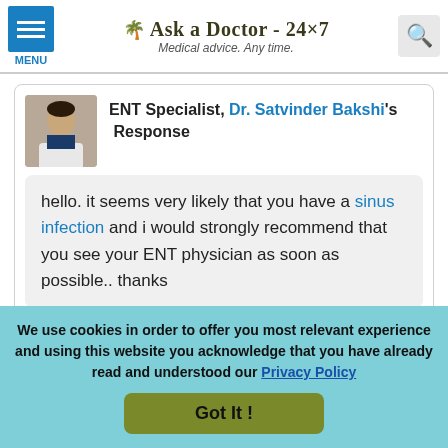Ask a Doctor - 24x7 | Medical advice. Any time.
ENT Specialist, Dr. Satvinder Bakshi's Response
hello. it seems very likely that you have a sinus infection and i would strongly recommend that you see your ENT physician as soon as possible.. thanks
I find this answer helpful
Disclaimer: These answers are for your information only and not intended to replace your relationship with your treating physician.
We use cookies in order to offer you most relevant experience and using this website you acknowledge that you have already read and understood our Privacy Policy
Got It !